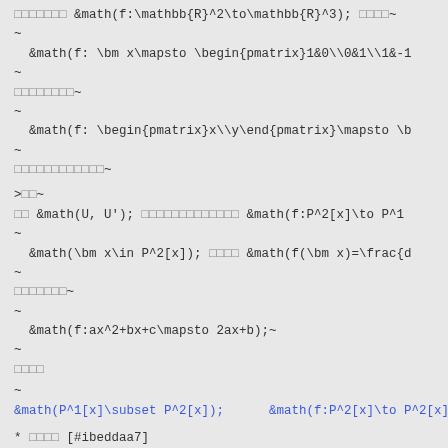□□□□□□□ &math(f:\mathbb{R}^2\to\mathbb{R}^3); □□□□~
~
~
□□□□□□□□~
~
~
□□□□□□□□□□□□~
>□□~
□□ &math(U, U'); □□□□□□□□□□□□□ &math(f:P^2[x]\to P^1[x])
~
&math(\bm x\in P^2[x]); □□□□ &math(f(\bm x)=\frac{d}{dx}\bm x)
~
□□□□□□□~
~
~
□□□□
~
&math(P^1[x]\subset P^2[x]);      &math(f:P^2[x]\to P^2[x])
* □□□□ [#ibeddaa7]